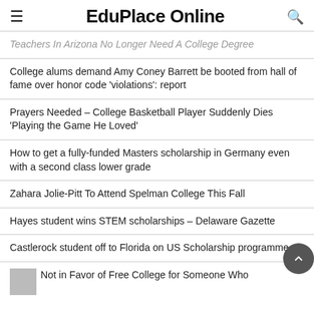EduPlace Online
Teachers In Arizona No Longer Need A College Degree
College alums demand Amy Coney Barrett be booted from hall of fame over honor code 'violations': report
Prayers Needed - College Basketball Player Suddenly Dies 'Playing the Game He Loved'
How to get a fully-funded Masters scholarship in Germany even with a second class lower grade
Zahara Jolie-Pitt To Attend Spelman College This Fall
Hayes student wins STEM scholarships - Delaware Gazette
Castlerock student off to Florida on US Scholarship programme
Not in Favor of Free College for Someone Who